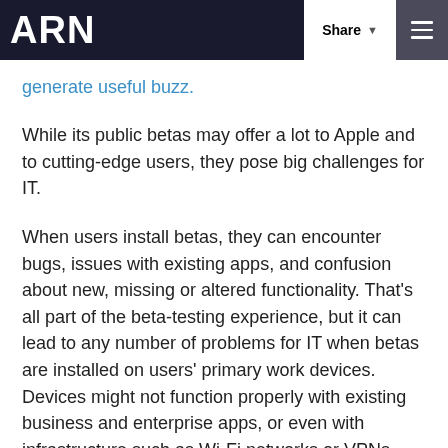ARN | Share | [menu]
generate useful buzz.
While its public betas may offer a lot to Apple and to cutting-edge users, they pose big challenges for IT.
When users install betas, they can encounter bugs, issues with existing apps, and confusion about new, missing or altered functionality. That's all part of the beta-testing experience, but it can lead to any number of problems for IT when betas are installed on users' primary work devices. Devices might not function properly with existing business and enterprise apps, or even with infrastructure such as Wi-Fi networks or VPNs. They may be unstable and affect back-end IT systems in unknown ways. They could outright prevent users from accessing mission-critical work or break